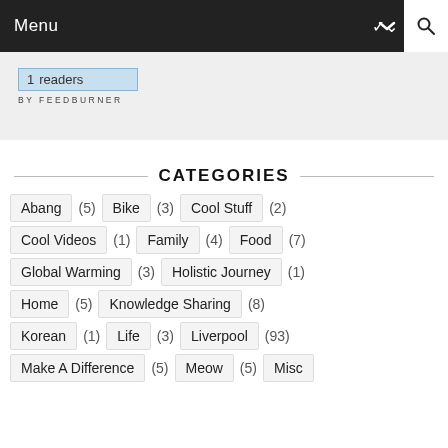Menu
[Figure (other): FeedBurner widget showing 1 readers]
CATEGORIES
Abang (5)
Bike (3)
Cool Stuff (2)
Cool Videos (1)
Family (4)
Food (7)
Global Warming (3)
Holistic Journey (1)
Home (5)
Knowledge Sharing (8)
Korean (1)
Life (3)
Liverpool (93)
Make A Difference (5)
Meow (5)
Misc